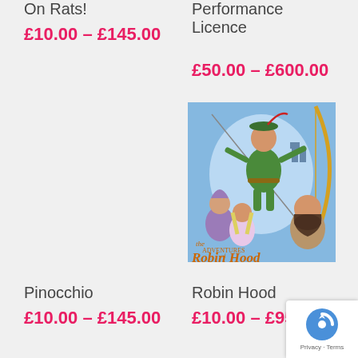On Rats!
£10.00 – £145.00
Performance Licence
£50.00 – £600.00
[Figure (illustration): The Adventures of Robin Hood book/play cover illustration showing Robin Hood drawing a bow and arrow, with other characters including a wizard, a princess, and a bearded man below, with the title 'The Adventures of Robin Hood' in stylized lettering]
Pinocchio
£10.00 – £145.00
Robin Hood
£10.00 – £95.00